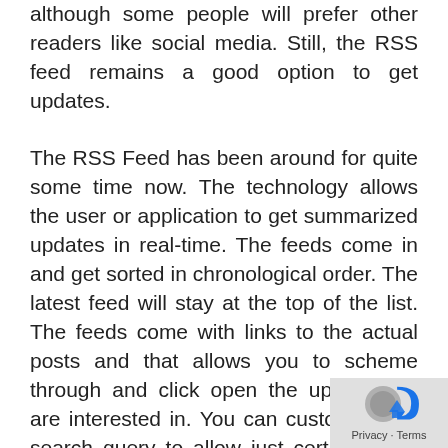although some people will prefer other readers like social media. Still, the RSS feed remains a good option to get updates.
The RSS Feed has been around for quite some time now. The technology allows the user or application to get summarized updates in real-time. The feeds come in and get sorted in chronological order. The latest feed will stay at the top of the list. The feeds come with links to the actual posts and that allows you to scheme through and click open the update you are interested in. You can customize the search query to allow just certain feeds according to your liking. Although, only time will determ the future of RSS Feeds.